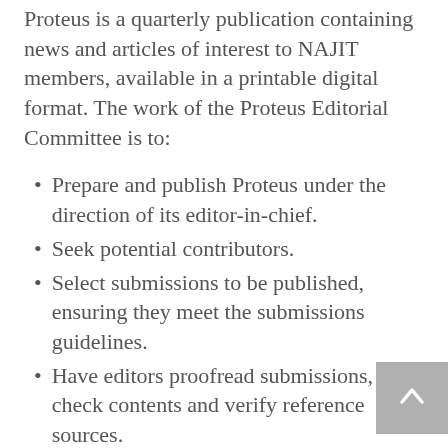Proteus is a quarterly publication containing news and articles of interest to NAJIT members, available in a printable digital format. The work of the Proteus Editorial Committee is to:
Prepare and publish Proteus under the direction of its editor-in-chief.
Seek potential contributors.
Select submissions to be published, ensuring they meet the submissions guidelines.
Have editors proofread submissions, fact-check contents and verify reference sources.
Help identify and secure advertisers and sponsors.
Maintain a list of key individuals in the interpreting and translation